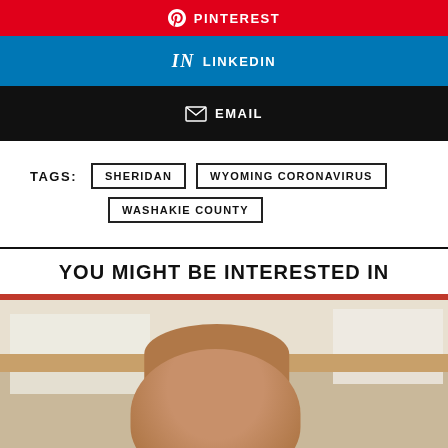[Figure (other): Pinterest share button bar (red background)]
[Figure (other): LinkedIn share button bar (blue background)]
[Figure (other): Email share button bar (black background)]
TAGS: SHERIDAN   WYOMING CORONAVIRUS   WASHAKIE COUNTY
YOU MIGHT BE INTERESTED IN
[Figure (photo): Photo of a person, appears to be indoors with papers/notes on wall behind them]